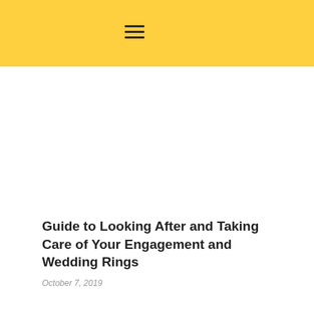Guide to Looking After and Taking Care of Your Engagement and Wedding Rings
October 7, 2019